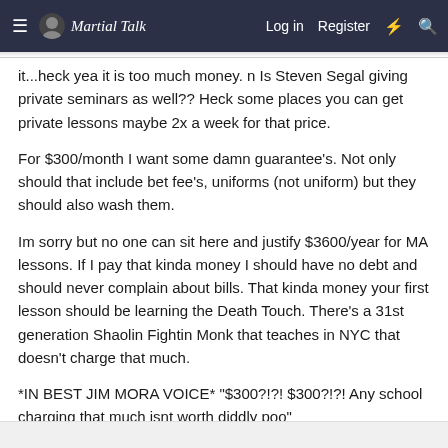Martial Talk — Log in  Register
it...heck yea it is too much money. n Is Steven Segal giving private seminars as well?? Heck some places you can get private lessons maybe 2x a week for that price.

For $300/month I want some damn guarantee's. Not only should that include bet fee's, uniforms (not uniform) but they should also wash them.

Im sorry but no one can sit here and justify $3600/year for MA lessons. If I pay that kinda money I should have no debt and should never complain about bills. That kinda money your first lesson should be learning the Death Touch. There's a 31st generation Shaolin Fightin Monk that teaches in NYC that doesn't charge that much.

*IN BEST JIM MORA VOICE* "$300?!?! $300?!?! Any school charging that much isnt worth diddly poo"